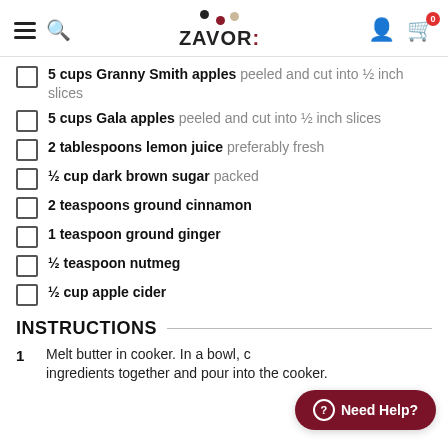Zavor logo with navigation icons (hamburger menu, search, user, cart)
5 cups Granny Smith apples peeled and cut into ½ inch slices
5 cups Gala apples peeled and cut into ½ inch slices
2 tablespoons lemon juice preferably fresh
½ cup dark brown sugar packed
2 teaspoons ground cinnamon
1 teaspoon ground ginger
½ teaspoon nutmeg
½ cup apple cider
INSTRUCTIONS
1  Melt butter in cooker. In a bowl, combine ingredients together and pour into the cooker.